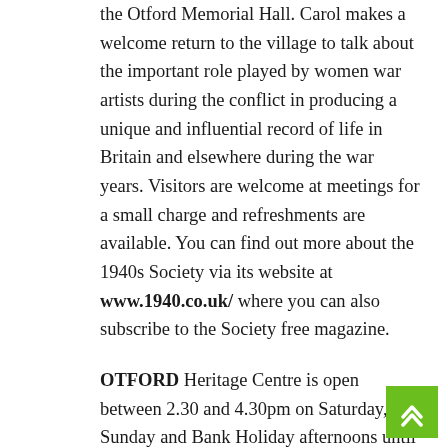the Otford Memorial Hall. Carol makes a welcome return to the village to talk about the important role played by women war artists during the conflict in producing a unique and influential record of life in Britain and elsewhere during the war years. Visitors are welcome at meetings for a small charge and refreshments are available. You can find out more about the 1940s Society via its website at www.1940.co.uk/ where you can also subscribe to the Society free magazine.
OTFORD Heritage Centre is open between 2.30 and 4.30pm on Saturday, Sunday and Bank Holiday afternoons until mid-December offering visitors to our village the opportunity to see Otford's continuous habitation over